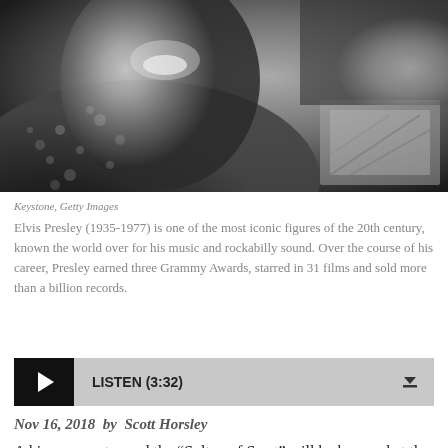[Figure (photo): Black and white photograph of Elvis Presley smiling, wearing a floral shirt]
Keystone, Getty Images
Elvis Presley (1935-1977) is one of the most iconic figures of the 20th century, known the world over for his music and rockabilly sound. Over the course of his career, Presley earned three Grammy Awards, starred in 31 films and sold more than a billion records.
LISTEN (3:32)
Nov 16, 2018  by  Scott Horsley
A king, a senator and the “Sultan of Swat” will be honored at the White House on Friday.